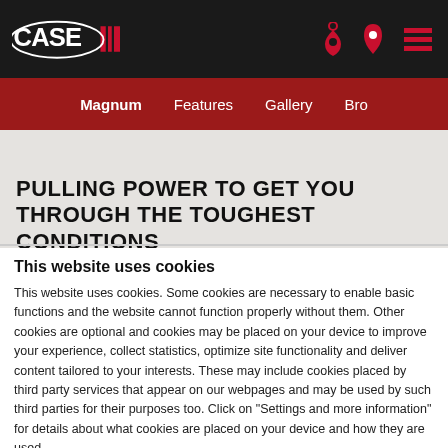CASE IH — Magnum | Features | Gallery | Bro
PULLING POWER TO GET YOU THROUGH THE TOUGHEST CONDITIONS
This website uses cookies
This website uses cookies. Some cookies are necessary to enable basic functions and the website cannot function properly without them. Other cookies are optional and cookies may be placed on your device to improve your experience, collect statistics, optimize site functionality and deliver content tailored to your interests. These may include cookies placed by third party services that appear on our webpages and may be used by such third parties for their purposes too. Click on "Settings and more information" for details about what cookies are placed on your device and how they are used.
If you accept all optional cookies, click on "Proceed".
If you want to learn more and/or choose which types of optional cookies this